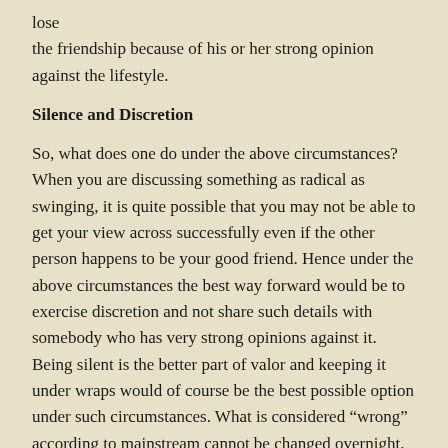lose the friendship because of his or her strong opinion against the lifestyle.
Silence and Discretion
So, what does one do under the above circumstances? When you are discussing something as radical as swinging, it is quite possible that you may not be able to get your view across successfully even if the other person happens to be your good friend. Hence under the above circumstances the best way forward would be to exercise discretion and not share such details with somebody who has very strong opinions against it. Being silent is the better part of valor and keeping it under wraps would of course be the best possible option under such circumstances. What is considered “wrong” according to mainstream cannot be changed overnight. It would be akin to swimming against the tide. It would always be prudent